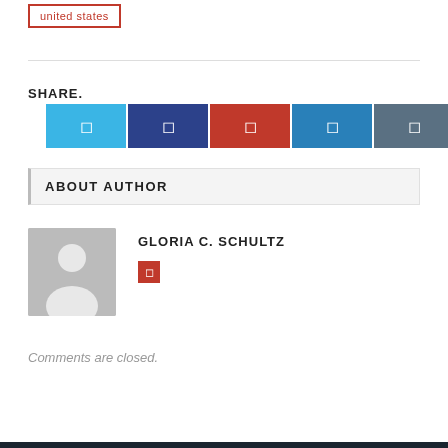united states
SHARE.
[Figure (other): Six social share buttons: Twitter (light blue), Facebook (dark blue), Pinterest (red), LinkedIn (blue), Tumblr (dark teal), and a share counter button (dark navy)]
ABOUT AUTHOR
[Figure (photo): Generic gray avatar placeholder with silhouette of a person]
GLORIA C. SCHULTZ
Comments are closed.